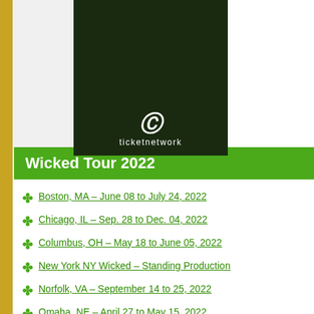[Figure (logo): TicketNetwork logo with white spiral symbol and text 'ticketnetwork' on dark green background]
Wicked Tour 2022
Boston, MA – June 08 to July 24, 2022
Chicago, IL – Sep. 28 to Dec. 04, 2022
Columbus, OH – May 18 to June 05, 2022
New York NY Wicked – Standing Production
Norfolk, VA – September 14 to 25, 2022
Omaha, NE – April 27 to May 15, 2022
Sacramento, CA – March 30 to April 24, 2022
Wicked Tour 2023
Houston, TX – May 31 to July 02, 2023
Miami, FL – February 15 to March 05, 2023